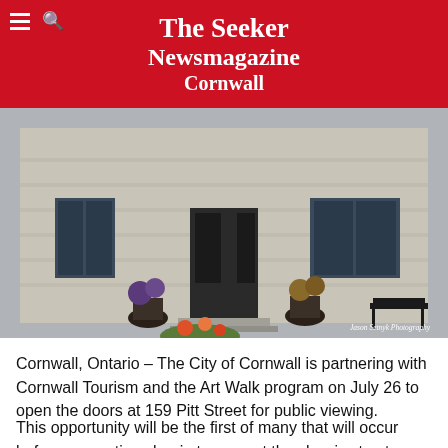The Seeker Newsmagazine Cornwall
[Figure (photo): Exterior photograph of a classic stone building at 159 Pitt Street, Cornwall. Potted flowers visible. Photo credit: Jason Setnyk Photography.]
Cornwall, Ontario – The City of Cornwall is partnering with Cornwall Tourism and the Art Walk program on July 26 to open the doors at 159 Pitt Street for public viewing.
This opportunity will be the first of many that will occur before renovations begin to convert the classic structure into the Arts and Culture Centre of the City of Cornwall. This and subsequent occasions are designed to gain insight into the possibilities people envision for the Arts Centre. The architectural sketches contained in